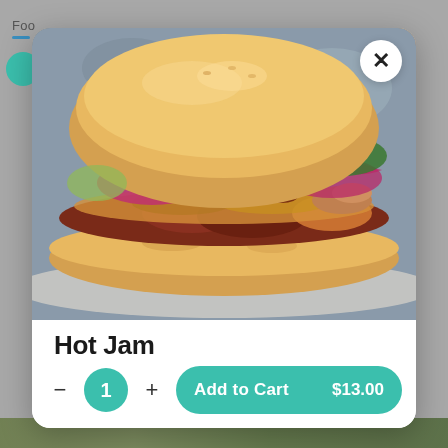[Figure (screenshot): Mobile food ordering app modal overlay showing a sandwich item called 'Hot Jam' with a close (X) button, food photo of a sandwich with cilantro, pickled cabbage and pulled meat toppings on a bun, item name 'Hot Jam', quantity selector showing 1 with minus and plus buttons, and an 'Add to Cart' button showing $13.00]
Hot Jam
Add to Cart   $13.00